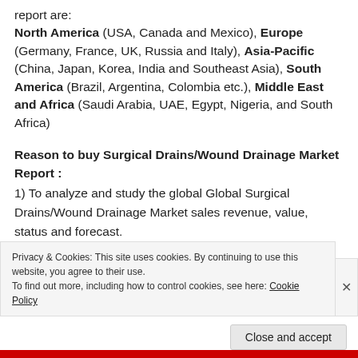report are: North America (USA, Canada and Mexico), Europe (Germany, France, UK, Russia and Italy), Asia-Pacific (China, Japan, Korea, India and Southeast Asia), South America (Brazil, Argentina, Colombia etc.), Middle East and Africa (Saudi Arabia, UAE, Egypt, Nigeria, and South Africa)
Reason to buy Surgical Drains/Wound Drainage Market Report :
1) To analyze and study the global Global Surgical Drains/Wound Drainage Market sales revenue, value, status and forecast.
2) Focuses on the key Global Surgical Drains/Wound
Privacy & Cookies: This site uses cookies. By continuing to use this website, you agree to their use. To find out more, including how to control cookies, see here: Cookie Policy
Close and accept